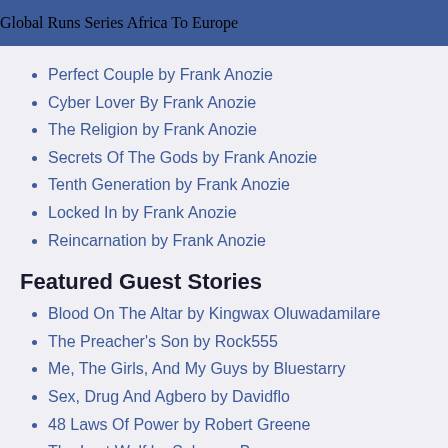Global Runs Series   Africa To Europe
Perfect Couple by Frank Anozie
Cyber Lover By Frank Anozie
The Religion by Frank Anozie
Secrets Of The Gods by Frank Anozie
Tenth Generation by Frank Anozie
Locked In by Frank Anozie
Reincarnation by Frank Anozie
Featured Guest Stories
Blood On The Altar by Kingwax Oluwadamilare
The Preacher's Son by Rock555
Me, The Girls, And My Guys by Bluestarry
Sex, Drug And Agbero by Davidflo
48 Laws Of Power by Robert Greene
The Last Wolf by Solomon Brown